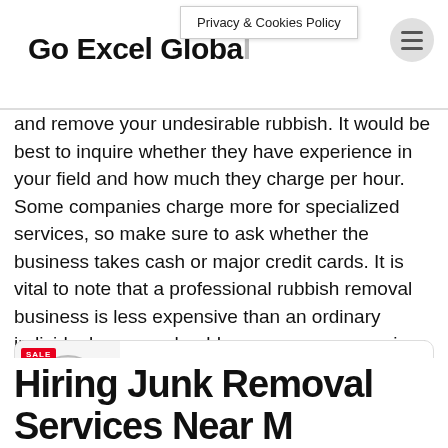Go Excel Global
Privacy & Cookies Policy
and remove your undesirable rubbish. It would be best to inquire whether they have experience in your field and how much they charge per hour. Some companies charge more for specialized services, so make sure to ask whether the business takes cash or major credit cards. It is vital to note that a professional rubbish removal business is less expensive than an ordinary individual, so you should compare many services before deciding on one.
[Figure (other): Advertisement banner for Colloidal Silver Cream Salve 1oz by Nano47. Shows product image with SALE badge, product name, subtitle 'Nano47 Colloidal Silver Cream Salve Lotion', a green 'Click to Visit Nano47 Shop' button, and icons for SAFE, PURE, EFFECTIVE, NATURAL, VEGAN, SULFATE FREE, PARABEN FREE, NON-GMO, GLUTEN-FREE.]
Hiring Junk Removal Services Near M...